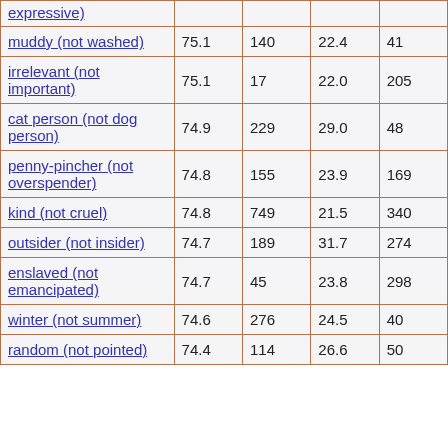| expressive) |  |  |  |  |
| muddy (not washed) | 75.1 | 140 | 22.4 | 41 |
| irrelevant (not important) | 75.1 | 17 | 22.0 | 205 |
| cat person (not dog person) | 74.9 | 229 | 29.0 | 48 |
| penny-pincher (not overspender) | 74.8 | 155 | 23.9 | 169 |
| kind (not cruel) | 74.8 | 749 | 21.5 | 340 |
| outsider (not insider) | 74.7 | 189 | 31.7 | 274 |
| enslaved (not emancipated) | 74.7 | 45 | 23.8 | 298 |
| winter (not summer) | 74.6 | 276 | 24.5 | 40 |
| random (not pointed) | 74.4 | 114 | 26.6 | 50 |